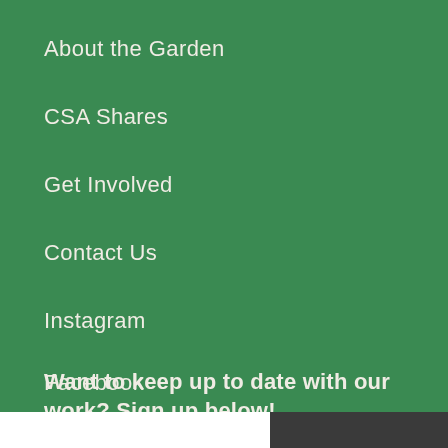About the Garden
CSA Shares
Get Involved
Contact Us
Instagram
Facebook
Want to keep up to date with our work? Sign up below!